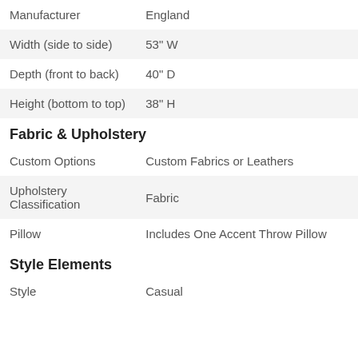|  |  |
| --- | --- |
| Manufacturer | England |
| Width (side to side) | 53" W |
| Depth (front to back) | 40" D |
| Height (bottom to top) | 38" H |
Fabric & Upholstery
|  |  |
| --- | --- |
| Custom Options | Custom Fabrics or Leathers |
| Upholstery Classification | Fabric |
| Pillow | Includes One Accent Throw Pillow |
Style Elements
|  |  |
| --- | --- |
| Style | Casual |